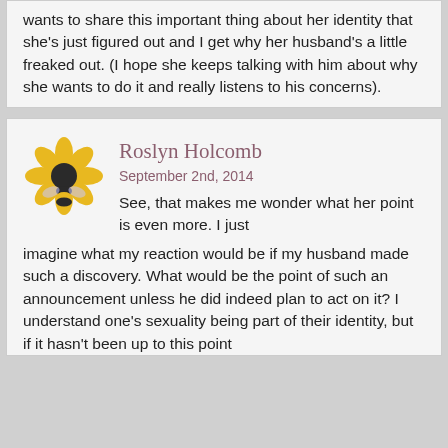wants to share this important thing about her identity that she's just figured out and I get why her husband's a little freaked out. (I hope she keeps talking with him about why she wants to do it and really listens to his concerns).
Roslyn Holcomb
September 2nd, 2014
See, that makes me wonder what her point is even more. I just imagine what my reaction would be if my husband made such a discovery. What would be the point of such an announcement unless he did indeed plan to act on it? I understand one's sexuality being part of their identity, but if it hasn't been up to this point